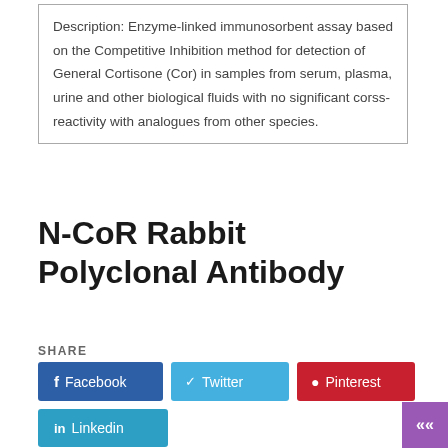Description: Enzyme-linked immunosorbent assay based on the Competitive Inhibition method for detection of General Cortisone (Cor) in samples from serum, plasma, urine and other biological fluids with no significant corss-reactivity with analogues from other species.
N-CoR Rabbit Polyclonal Antibody
SHARE
[Figure (infographic): Social share buttons: Facebook (blue), Twitter (light blue), Pinterest (red), Linkedin (teal)]